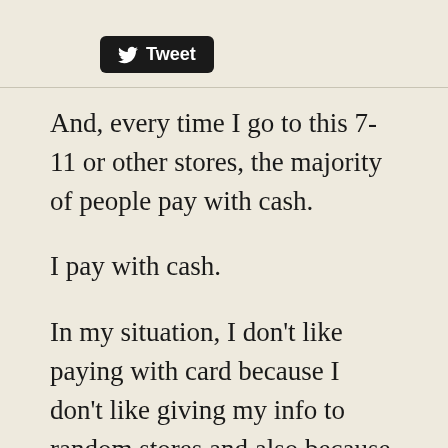[Figure (other): Twitter Tweet button with bird logo on black rounded rectangle background]
And, every time I go to this 7-11 or other stores, the majority of people pay with cash.
I pay with cash.
In my situation, I don’t like paying with card because I don’t like giving my info to random stores and also because I don’t want to risk getting mugged.